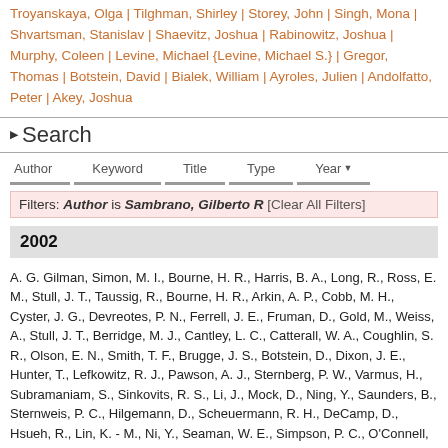Troyanskaya, Olga | Tilghman, Shirley | Storey, John | Singh, Mona | Shvartsman, Stanislav | Shaevitz, Joshua | Rabinowitz, Joshua | Murphy, Coleen | Levine, Michael {Levine, Michael S.} | Gregor, Thomas | Botstein, David | Bialek, William | Ayroles, Julien | Andolfatto, Peter | Akey, Joshua
Search
Author | Keyword | Title | Type | Year
Filters: Author is Sambrano, Gilberto R [Clear All Filters]
2002
A. G. Gilman, Simon, M. I., Bourne, H. R., Harris, B. A., Long, R., Ross, E. M., Stull, J. T., Taussig, R., Bourne, H. R., Arkin, A. P., Cobb, M. H., Cyster, J. G., Devreotes, P. N., Ferrell, J. E., Fruman, D., Gold, M., Weiss, A., Stull, J. T., Berridge, M. J., Cantley, L. C., Catterall, W. A., Coughlin, S. R., Olson, E. N., Smith, T. F., Brugge, J. S., Botstein, D., Dixon, J. E., Hunter, T., Lefkowitz, R. J., Pawson, A. J., Sternberg, P. W., Varmus, H., Subramaniam, S., Sinkovits, R. S., Li, J., Mock, D., Ning, Y., Saunders, B., Sternweis, P. C., Hilgemann, D., Scheuermann, R. H., DeCamp, D., Hsueh, R., Lin, K. - M., Ni, Y., Seaman, W. E., Simpson, P. C., O'Connell, T. D., Roach, T., Simon, M. I., Choi, S., Eversole-Cire, P., Fraser, I., Mumby, M. C., Zhao, Y., Brekken, D., Shu, H., Meyer, T., Chandy, G.,